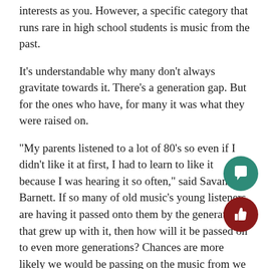interests as you. However, a specific category that runs rare in high school students is music from the past.
It's understandable why many don't always gravitate towards it. There's a generation gap. But for the ones who have, for many it was what they were raised on.
“My parents listened to a lot of 80’s so even if I didn’t like it at first, I had to learn to like it because I was hearing it so often,” said Savannah Barnett. If so many of old music’s young listeners are having it passed onto them by the generations that grew up with it, then how will it be passed on to even more generations? Chances are more likely we would be passing on the music from we when grew up which will turn into the new “old music”. The all in all question is, Why is keeping old music relevant so important?
“It’s important because the majority of music nowadays